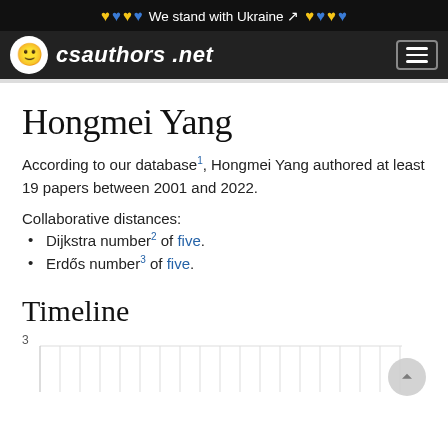We stand with Ukraine
csauthors.net
Hongmei Yang
According to our database¹, Hongmei Yang authored at least 19 papers between 2001 and 2022.
Collaborative distances:
Dijkstra number² of five.
Erdős number³ of five.
Timeline
[Figure (bar-chart): Bar chart showing publication timeline, y-axis visible with value 3 at top, partial chart visible at bottom of page]